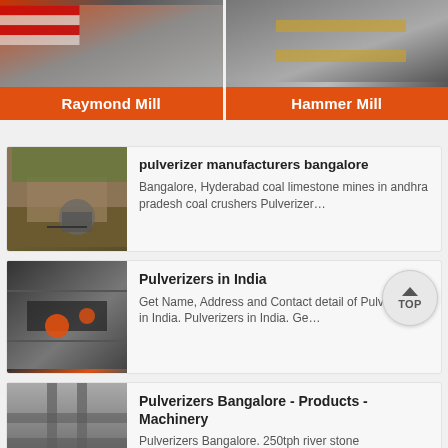[Figure (photo): Top banner with two product images: Raymond Mill and Hammer Mill with orange label bars]
[Figure (photo): Mining quarry scene with crushing equipment]
pulverizer manufacturers bangalore
Bangalore, Hyderabad coal limestone mines in andhra pradesh coal crushers Pulverizer…
[Figure (photo): Industrial pulverizer machinery close-up]
Pulverizers in India
Get Name, Address and Contact detail of Pulverizers in India. Pulverizers in India. Ge…
[Figure (photo): Industrial machinery/structure]
Pulverizers Bangalore - Products - Machinery
Pulverizers Bangalore. 250tph river stone